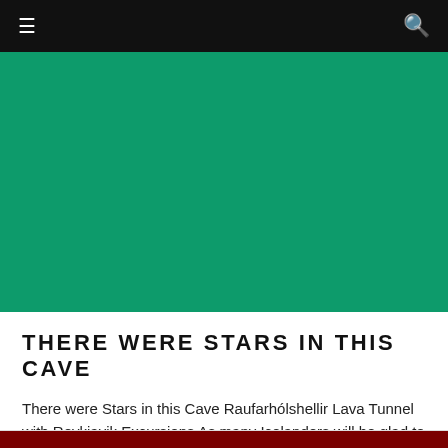≡  🔍
[Figure (photo): Large green hero image area representing a cave or nature scene]
THERE WERE STARS IN THIS CAVE
There were Stars in this Cave Raufarhólshellir Lava Tunnel with Reykjavik Excursions As many Icelanders will be glad to point out with a smile and even a wi...